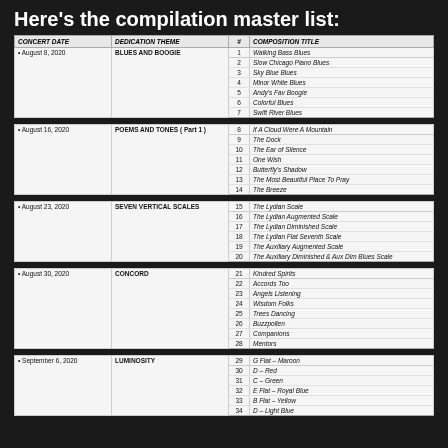Here's the compilation master list:
| CONCERT DATE | DEDICATION THEME | # | COMPOSITION TITLE |
| --- | --- | --- | --- |
| • August 8, 2020 | BLUES AND BOOGIE | 1 | Walking Bass Blues |
|  |  | 2 | Slow Chicago Piano Blues |
|  |  | 3 | Sky Blue Blues |
|  |  | 4 | Minor White Blues |
|  |  | 5 | Andy's Fav Boogie |
|  |  | 6 | Colorful Blues |
|  |  | 7 | Swift River Blues |
| CONCERT DATE | DEDICATION THEME | # | COMPOSITION TITLE |
| --- | --- | --- | --- |
| • August 16, 2020 | POEMS AND TONES ( Part 1 ) | 8 | If A Cloud Were A Mountain |
|  |  | 9 | The Dock |
|  |  | 10 | The Ear of Silence |
|  |  | 11 | One Wish |
|  |  | 12 | Butterfly's Shadow |
|  |  | 13 | The Most Beautiful Place To Pray |
|  |  | 14 | The Breeze |
| CONCERT DATE | DEDICATION THEME | # | COMPOSITION TITLE |
| --- | --- | --- | --- |
| • August 23, 2020 | SEVEN VERTICAL SCALES | 15 | The Lydian Scale |
|  |  | 16 | The Lydian Augmented Scale |
|  |  | 17 | The Lydian Diminished Scale |
|  |  | 18 | The Lydian Flat Seventh Scale |
|  |  | 19 | The Auxiliary Augmented Scale |
|  |  | 20 | The Auxiliary Diminished & Aux Dim Blues Scale |
| CONCERT DATE | DEDICATION THEME | # | COMPOSITION TITLE |
| --- | --- | --- | --- |
| • August 30, 2020 | CONCORD | 21 | Kindred Spirits |
|  |  | 22 | Accords Too |
|  |  | 23 | Angels Listening |
|  |  | 24 | Wisdom Folks |
|  |  | 25 | Trees Dancing |
|  |  | 26 | Buzzpollen |
|  |  | 27 | Companions |
|  |  | 28 | Mentors |
| CONCERT DATE | DEDICATION THEME | # | COMPOSITION TITLE |
| --- | --- | --- | --- |
| • September 6, 2020 | LUMINOSITY | 29 | G Flat – Maroon |
|  |  | 30 | D – Red |
|  |  | 31 | C – Green |
|  |  | 32 | E Flat – Royal Blue |
|  |  | 33 | B Flat – Yellow |
|  |  | 34 | D – Light Blue |